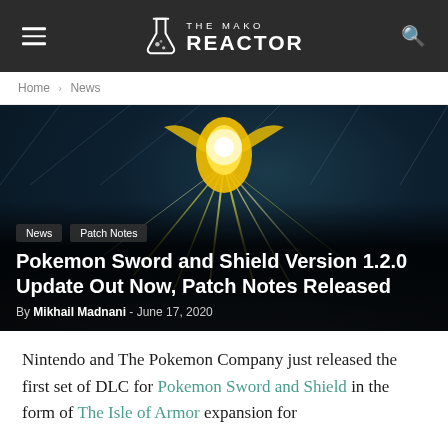THE MAKO REACTOR
Home › News
[Figure (photo): A glowing yellow bird Pokemon (Zeraora) releasing electric lightning bolts in a stadium arena with blue/teal lighting in the background. Overlaid text shows category tags 'News' and 'Patch Notes'.]
Pokemon Sword and Shield Version 1.2.0 Update Out Now, Patch Notes Released
By Mikhail Madnani - June 17, 2020
Nintendo and The Pokemon Company just released the first set of DLC for Pokemon Sword and Shield in the form of The Isle of Armor expansion for